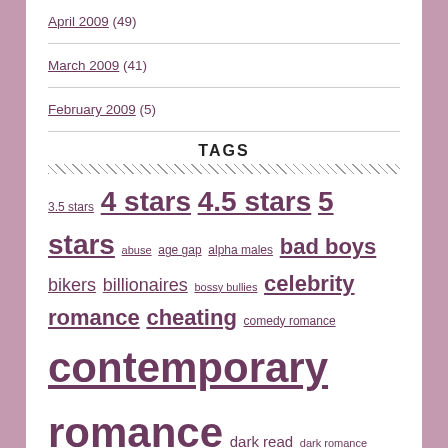April 2009 (49)
March 2009 (41)
February 2009 (5)
TAGS
3.5 stars 4 stars 4.5 stars 5 stars abuse age gap alpha males bad boys bikers billionaires bossy bullies celebrity romance cheating comedy romance contemporary romance dark read dark romance forbidden love giveaway infidelity kidnapped love triangle mafia marital strife men in wife contemporary new adult